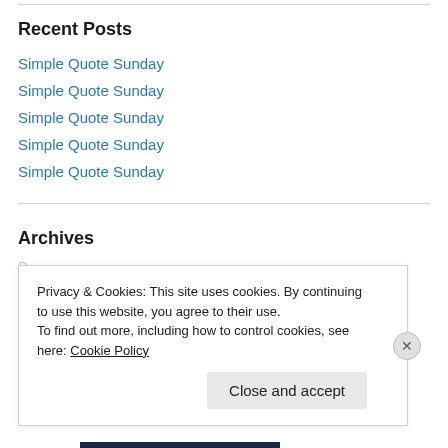Recent Posts
Simple Quote Sunday
Simple Quote Sunday
Simple Quote Sunday
Simple Quote Sunday
Simple Quote Sunday
Archives
Privacy & Cookies: This site uses cookies. By continuing to use this website, you agree to their use.
To find out more, including how to control cookies, see here: Cookie Policy
Close and accept